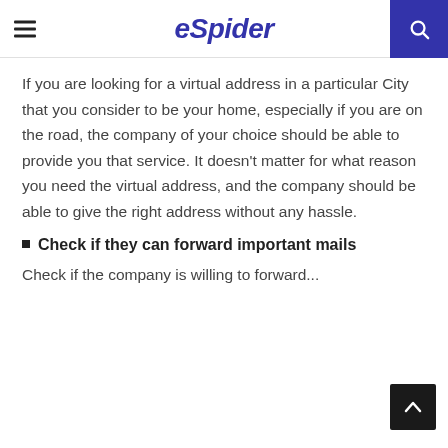eSpider
If you are looking for a virtual address in a particular City that you consider to be your home, especially if you are on the road, the company of your choice should be able to provide you that service. It doesn't matter for what reason you need the virtual address, and the company should be able to give the right address without any hassle.
Check if they can forward important mails
Check if the company is willing to forward...